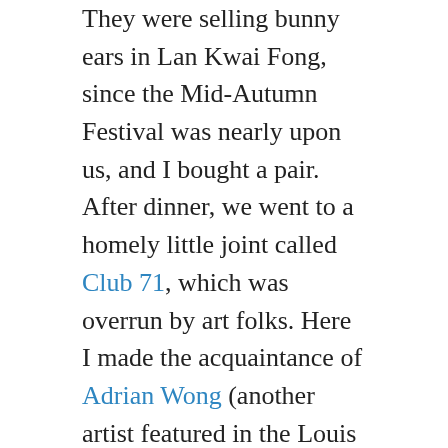They were selling bunny ears in Lan Kwai Fong, since the Mid-Autumn Festival was nearly upon us, and I bought a pair. After dinner, we went to a homely little joint called Club 71, which was overrun by art folks. Here I made the acquaintance of Adrian Wong (another artist featured in the Louis Vuitton show), and we chatted for a good long while.
Afterwards, Rachel and Paul and I headed out for another schwarma, before finally calling it a night. An awesome evening!
Saturday
I asked Kobe at ACO if she could recommend a nearby place for dim sum, and she came